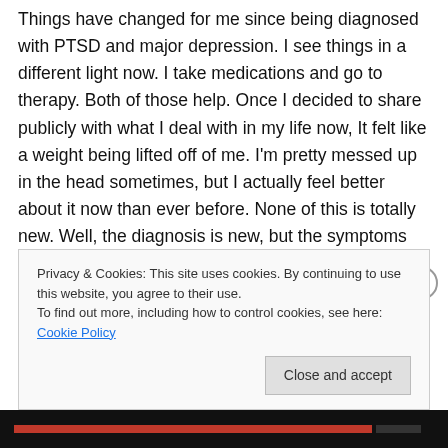Things have changed for me since being diagnosed with PTSD and major depression. I see things in a different light now. I take medications and go to therapy. Both of those help. Once I decided to share publicly with what I deal with in my life now, It felt like a weight being lifted off of me. I'm pretty messed up in the head sometimes, but I actually feel better about it now than ever before. None of this is totally new. Well, the diagnosis is new, but the symptoms have been with me for years.
In 2011, a year and half after coming home from Iraq, I talked my way out of being labeled with PTSD. I convinced...
Privacy & Cookies: This site uses cookies. By continuing to use this website, you agree to their use.
To find out more, including how to control cookies, see here: Cookie Policy